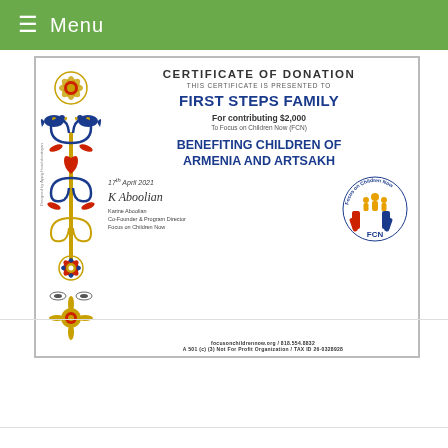≡ Menu
[Figure (illustration): Certificate of Donation from Focus on Children Now (FCN) presented to First Steps Family for contributing $2,000 to benefit children of Armenia and Artsakh. Dated 17th April 2021, signed by Karine Aboolian, Co-Founder & Program Director. Features Armenian decorative motif on the left and FCN logo on the right.]